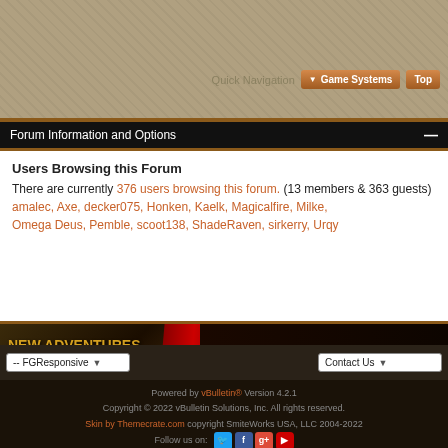[Figure (screenshot): Top textured background area with Quick Navigation bar, Game Systems and Top buttons]
Forum Information and Options
Users Browsing this Forum
There are currently 376 users browsing this forum. (13 members & 363 guests)
amalec, Axe, decker075, Honken, Kaelk, Magicalfire, Milke, Omega Deus, Pemble, scoot138, ShadeRaven, sirkerry, Urqy
[Figure (illustration): Dungeon Masters Guild advertisement banner - New Adventures & More for Tomb of Annihilation, Guild Adept PDFs exclusively at Dungeon Masters Guild]
Powered by vBulletin® Version 4.2.1
Copyright © 2022 vBulletin Solutions, Inc. All rights reserved.
Skin by Themecrate.com copyright SmiteWorks USA, LLC 2004-2022
Follow us on: